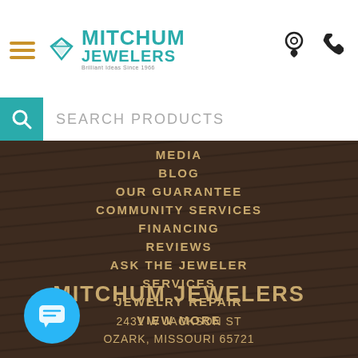[Figure (logo): Mitchum Jewelers logo with teal text, diamond icon, and tagline 'Brilliant Ideas Since 1966']
SEARCH PRODUCTS
MEDIA
BLOG
OUR GUARANTEE
COMMUNITY SERVICES
FINANCING
REVIEWS
ASK THE JEWELER
SERVICES
JEWELRY REPAIR
VIEW MORE
MITCHUM JEWELERS
2431 W JACKSON ST
OZARK, MISSOURI 65721